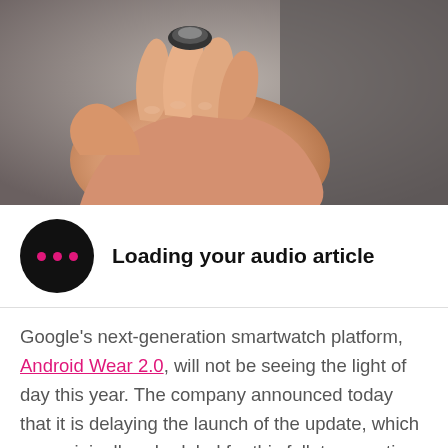[Figure (photo): Close-up photo of a hand holding a small circular device (smartwatch or similar wearable), shown against a blurred dark background.]
Loading your audio article
Google's next-generation smartwatch platform, Android Wear 2.0, will not be seeing the light of day this year. The company announced today that it is delaying the launch of the update, which was originally scheduled for this fall, to sometime in early 2017.